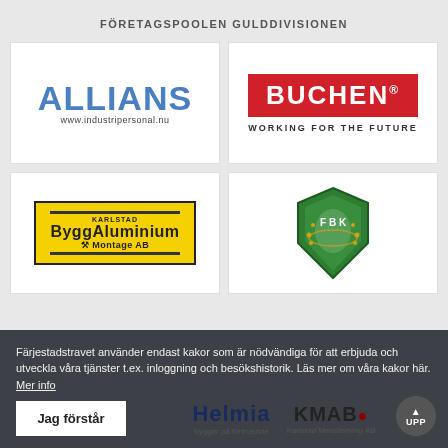FÖRETAGSPOOLEN GULDDIVISIONEN
[Figure (logo): ALLIANS industripersonal logo with text www.industripersonal.nu]
[Figure (logo): BUCHEN® WORKING FOR THE FUTURE logo with red box]
[Figure (logo): Karlstad ByggAluminium Montage AB logo with yellow background]
[Figure (logo): FBK shield logo with laurel wreath]
Färjestadstravet använder endast kakor som är nödvändiga för att erbjuda och utveckla våra tjänster t.ex. inloggning och besökshistorik. Läs mer om våra kakor här. Mer info
[Figure (logo): Helmia logo]
[Figure (logo): KMAB Karlstad Metallisering AB logo]